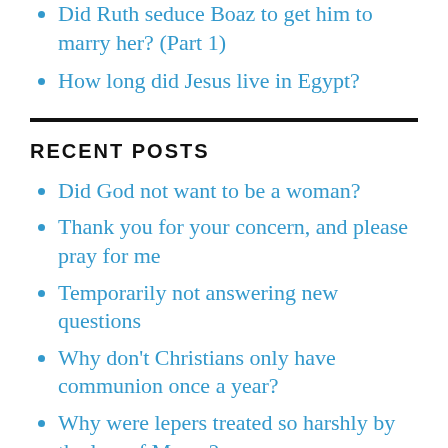Did Ruth seduce Boaz to get him to marry her? (Part 1)
How long did Jesus live in Egypt?
RECENT POSTS
Did God not want to be a woman?
Thank you for your concern, and please pray for me
Temporarily not answering new questions
Why don't Christians only have communion once a year?
Why were lepers treated so harshly by the law of Moses?
If we sin and ask forgiveness, is God our